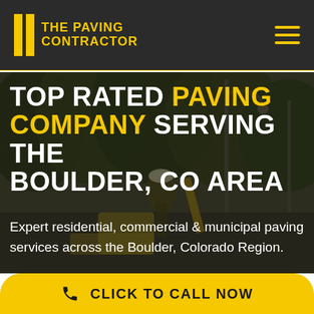THE PAVING CONTRACTOR
[Figure (screenshot): Hero background image showing paving equipment and workers on a street with trees in background, dark overlay applied]
TOP RATED PAVING COMPANY SERVING THE BOULDER, CO AREA
Expert residential, commercial & municipal paving services across the Boulder, Colorado Region.
CLICK TO CALL NOW